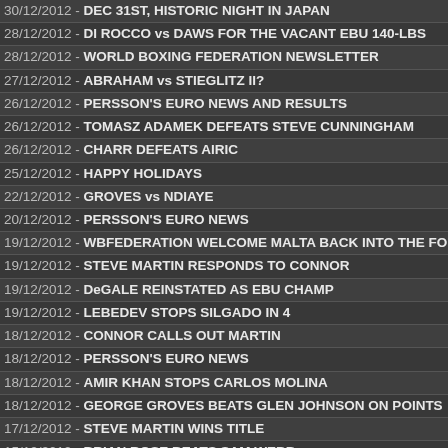30/12/2012 - DEC 31ST, HISTORIC NIGHT IN JAPAN
28/12/2012 - DI ROCCO vs DAWS FOR THE VACANT EBU 140-LBS
28/12/2012 - WORLD BOXING FEDERATION NEWSLETTER
27/12/2012 - ABRAHAM vs STIEGLITZ II?
26/12/2012 - PERSSON'S EURO NEWS AND RESULTS
26/12/2012 - TOMASZ ADAMEK DEFEATS STEVE CUNNINGHAM
26/12/2012 - CHARR DEFEATS AIRIC
25/12/2012 - HAPPY HOLIDAYS
22/12/2012 - GROVES vs NDIAYE
20/12/2012 - PERSSON'S EURO NEWS
19/12/2012 - WBFEDERATION WELCOME MALTA BACK INTO THE FOLD
19/12/2012 - STEVE MARTIN RESPONDS TO CONNOR
19/12/2012 - DeGALE REINSTATED AS EBU CHAMP
19/12/2012 - LEBEDEV STOPS SILGADO IN 4
18/12/2012 - CONNOR CALLS OUT MARTIN
18/12/2012 - PERSSON'S EURO NEWS
18/12/2012 - AMIR KHAN STOPS CARLOS MOLINA
18/12/2012 - GEORGE GROVES BEATS GLEN JOHNSON ON POINTS
17/12/2012 - STEVE MARTIN WINS TITLE
15/12/2012 - BRIAN ROSE BEATS SAM WEBB
14/12/2012 - NEXT SATURDAY FRAGOMENI-BRANCO REMATCH
13/12/2012 - JEAN PASCAL RETURNS DEC 14
13/12/2012 - PERSSON'S EURO RESULTS
12/12/2012 - TIM WITHESPOON APPOINTED VP OF MBC
11/12/2012 - BARRY SMITH GOES TO MALTA
10/12/2012 - WORLD BOXING FEDERATION NEWSLETTER
09/12/2012 - NICHOLAS WALTERS NEW WBA FEATHER CHAMPION